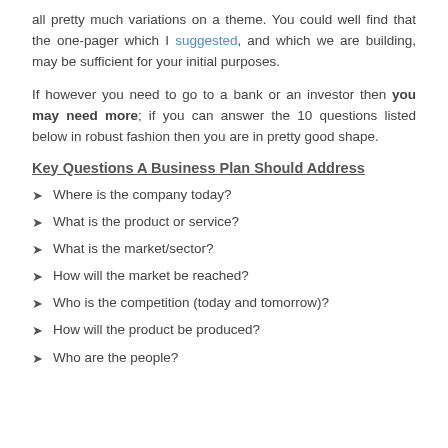all pretty much variations on a theme. You could well find that the one-pager which I suggested, and which we are building, may be sufficient for your initial purposes.
If however you need to go to a bank or an investor then you may need more; if you can answer the 10 questions listed below in robust fashion then you are in pretty good shape.
Key Questions A Business Plan Should Address
Where is the company today?
What is the product or service?
What is the market/sector?
How will the market be reached?
Who is the competition (today and tomorrow)?
How will the product be produced?
Who are the people?